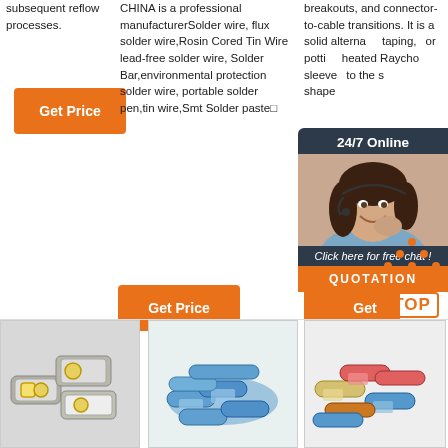subsequent reflow processes.
CHINA is a professional manufacturerSolder wire, flux solder wire,Rosin Cored Tin Wire lead-free solder wire, Solder Bar,environmental protection solder wire, portable solder pen,tin wire,Smt Solder paste
breakouts, and connector-to-cable transitions. It is a solid alternative taping, or potting heated Raycho sleeve to the shape
[Figure (other): Orange Get Price button]
[Figure (other): Orange Get Price button for column 2]
[Figure (other): Orange Get Price button for column 3 (partially visible)]
[Figure (other): 24/7 Online chat widget with woman wearing headset photo, click here for free chat, and QUOTATION button]
[Figure (photo): Metal electrical connectors/terminals photo]
[Figure (logo): HP brand logo]
[Figure (photo): Blue heat shrink solder connectors]
[Figure (photo): Assorted colored heat shrink solder connectors]
[Figure (other): TOP navigation button with orange triangle and border text]